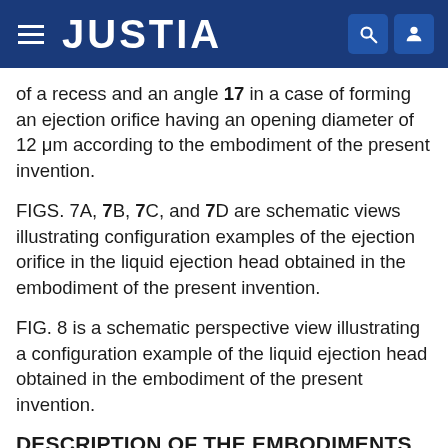JUSTIA
of a recess and an angle 17 in a case of forming an ejection orifice having an opening diameter of 12 μm according to the embodiment of the present invention.
FIGS. 7A, 7B, 7C, and 7D are schematic views illustrating configuration examples of the ejection orifice in the liquid ejection head obtained in the embodiment of the present invention.
FIG. 8 is a schematic perspective view illustrating a configuration example of the liquid ejection head obtained in the embodiment of the present invention.
DESCRIPTION OF THE EMBODIMENTS
Preferred embodiments of the present invention will now be described in detail in accordance with the accompanying drawings.